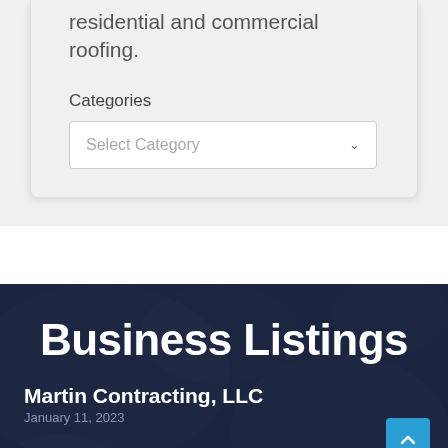residential and commercial roofing.
Categories
Select Category
Business Listings
Martin Contracting, LLC
January 11, 2023